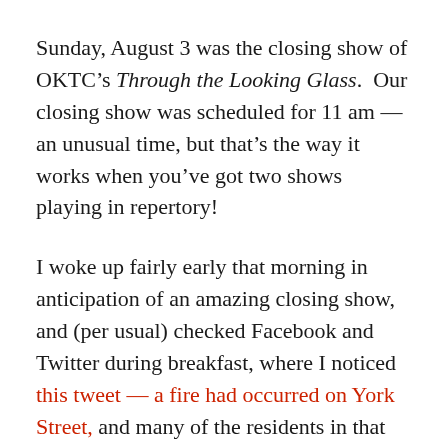Sunday, August 3 was the closing show of OKTC's Through the Looking Glass. Our closing show was scheduled for 11 am — an unusual time, but that's the way it works when you've got two shows playing in repertory!
I woke up fairly early that morning in anticipation of an amazing closing show, and (per usual) checked Facebook and Twitter during breakfast, where I noticed this tweet — a fire had occurred on York Street, and many of the residents in that area were without power. That set off an alarm in my mind — the Spriet Family Theatre is two blocks over from York Street, and who knows what might have been affected? There was